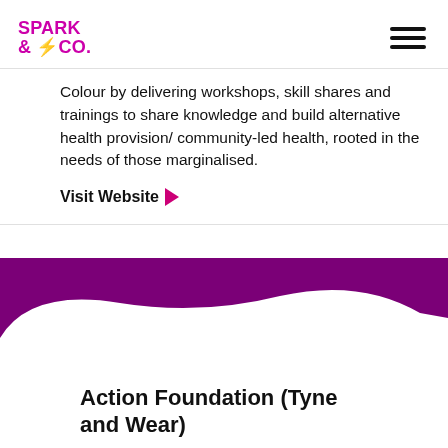[Figure (logo): Spark & Co. logo in magenta/pink with a yellow lightning bolt, and hamburger menu icon top right]
Colour by delivering workshops, skill shares and trainings to share knowledge and build alternative health provision/ community-led health, rooted in the needs of those marginalised.
Visit Website ▶
[Figure (illustration): Purple blob/shape decoration above the Action Foundation card]
Action Foundation (Tyne and Wear)